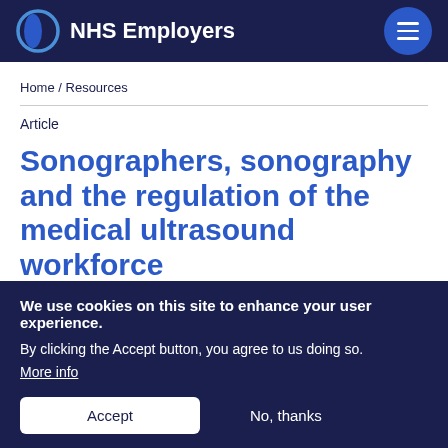NHS Employers
Home / Resources
Article
Sonographers, sonography and the regulation of the medical ultrasound workforce
We use cookies on this site to enhance your user experience. By clicking the Accept button, you agree to us doing so. More info
Accept
No, thanks